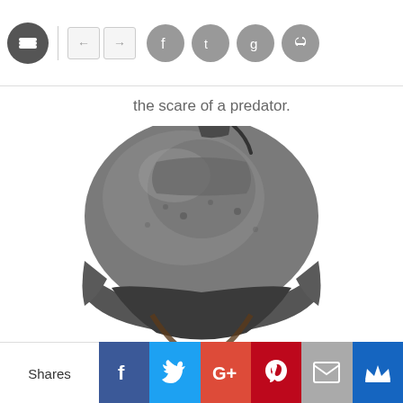Navigation bar with logo, arrows, and social share icons
the scare of a predator.
[Figure (photo): Close-up photo of a Predator alien movie character helmet/mask, metallic grey, on white background transitioning to black]
This website uses cookies to ensure you get the best experience on our website. More info
Got it!
Shares | Facebook | Twitter | Google+ | Pinterest | Email | Crown